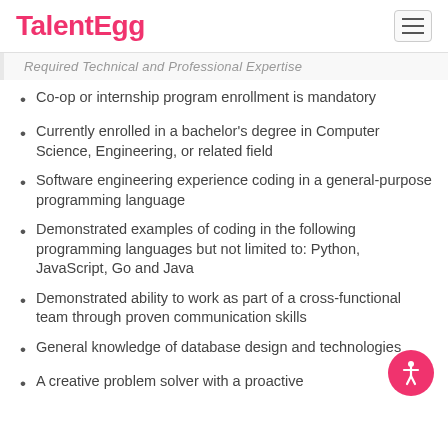TalentEgg
Required Technical and Professional Expertise
Co-op or internship program enrollment is mandatory
Currently enrolled in a bachelor’s degree in Computer Science, Engineering, or related field
Software engineering experience coding in a general-purpose programming language
Demonstrated examples of coding in the following programming languages but not limited to: Python, JavaScript, Go and Java
Demonstrated ability to work as part of a cross-functional team through proven communication skills
General knowledge of database design and technologies
A creative problem solver with a proactive